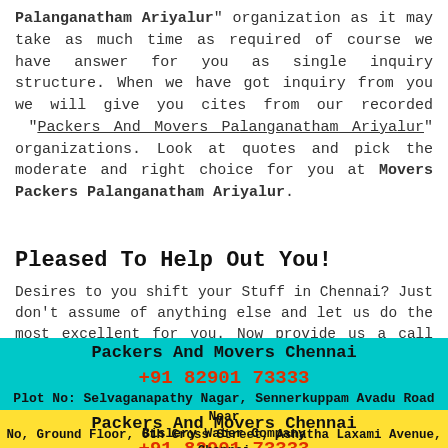Palanganatham Ariyalur" organization as it may take as much time as required of course we have answer for you as single inquiry structure. When we have got inquiry from you we will give you cites from our recorded "Packers And Movers Palanganatham Ariyalur" organizations. Look at quotes and pick the moderate and right choice for you at Movers Packers Palanganatham Ariyalur.
Pleased To Help Out You!
Desires to you shift your Stuff in Chennai? Just don't assume of anything else and let us do the most excellent for you. Now provide us a call and we are always glad to help you. You don't should waste your time and power to shift the merchandise but basically
observe the Packers And Movers Chennai recommend Door-to-Door Shifting services and assure to provide services with honesty and advanced quality. Our online directions and instructions are surely capable of helping you understand your and shifting quotes for all our relocation wants.
Packers And Movers Chennai
+91 82901 73333
Plot No: Selvaganapathy Nagar, Sennerkuppam Avadu Road Near Bislery Water Company
Packers And Movers Chennai
+91 82901 73333
No, Ground Floor, 6th Cross Street, Ashatha Laxami Avenue, Chennai 600056